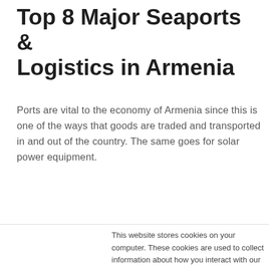Top 8 Major Seaports & Logistics in Armenia
Ports are vital to the economy of Armenia since this is one of the ways that goods are traded and transported in and out of the country. The same goes for solar power equipment.
This website stores cookies on your computer. These cookies are used to collect information about how you interact with our website and allow us to remember you. We use this information in order to improve and customize your browsing experience and for analytics and metrics about our visitors both on this website and other media. To find out more about the cookies we use, see our Privacy Policy
If you decline, your information won't be tracked when you visit this website. A single cookie will be used in your browser to remember your preference not to be tracked.